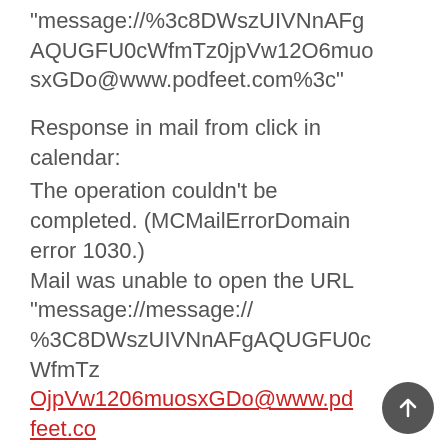“message://%3c8DWszUIVNnAFgAQUGFU0cWfmTz0jpVw12O6muosxGDo@www.podfeet.com%3c”
Response in mail from click in calendar:
The operation couldn’t be completed. (MCMailErrorDomain error 1030.)
Mail was unable to open the URL “message://message:// %3C8DWszUIVNnAFgAQUGFU0cWfmTz
OjpVw1206muosxGDo@www.podfeet.co